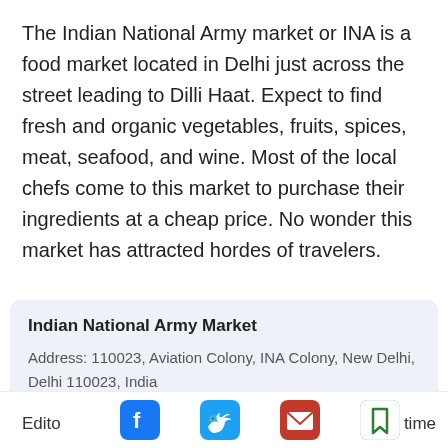The Indian National Army market or INA is a food market located in Delhi just across the street leading to Dilli Haat. Expect to find fresh and organic vegetables, fruits, spices, meat, seafood, and wine. Most of the local chefs come to this market to purchase their ingredients at a cheap price. No wonder this market has attracted hordes of travelers.
| Indian National Army Market |
| Address: 110023, Aviation Colony, INA Colony, New Delhi, Delhi 110023, India |
| Opening hours: 11am - 9pm (daily) |
5. Delhi Night Market
Edito
time